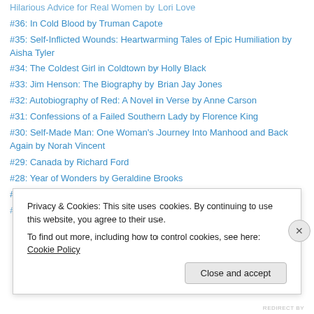Hilarious Advice for Real Women by Lori Love
#36: In Cold Blood by Truman Capote
#35: Self-Inflicted Wounds: Heartwarming Tales of Epic Humiliation by Aisha Tyler
#34: The Coldest Girl in Coldtown by Holly Black
#33: Jim Henson: The Biography by Brian Jay Jones
#32: Autobiography of Red: A Novel in Verse by Anne Carson
#31: Confessions of a Failed Southern Lady by Florence King
#30: Self-Made Man: One Woman's Journey Into Manhood and Back Again by Norah Vincent
#29: Canada by Richard Ford
#28: Year of Wonders by Geraldine Brooks
#27: Fairyland: A Memoir of My Father by Alysia Abbott
#26: Me and Earl and the Dying Girl by Jesse Andrews
Privacy & Cookies: This site uses cookies. By continuing to use this website, you agree to their use. To find out more, including how to control cookies, see here: Cookie Policy
REDIRECT BY